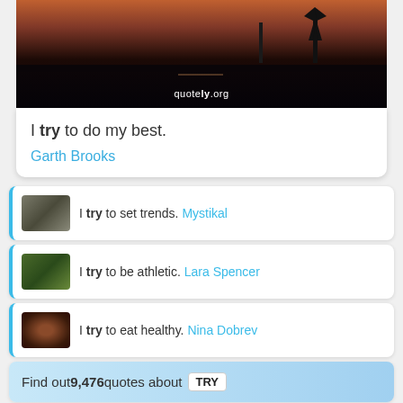[Figure (photo): Windmill silhouette at sunset over water with quotely.org watermark]
I try to do my best.
Garth Brooks
I try to set trends. Mystikal
I try to be athletic. Lara Spencer
I try to eat healthy. Nina Dobrev
Find out 9,476 quotes about TRY
/ Topic / WANT